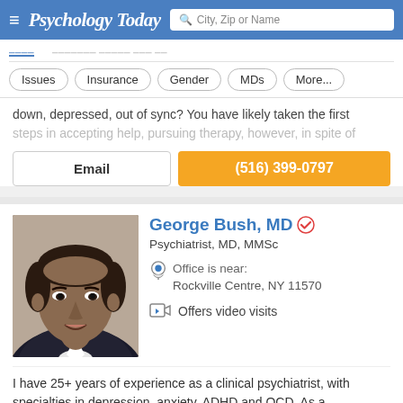Psychology Today — City, Zip or Name search bar
Issues
Insurance
Gender
MDs
More...
down, depressed, out of sync? You have likely taken the first steps in accepting help, pursuing therapy, however, in spite of
Email
(516) 399-0797
George Bush, MD
Psychiatrist, MD, MMSc
Office is near:
Rockville Centre, NY 11570
Offers video visits
I have 25+ years of experience as a clinical psychiatrist, with specialties in depression, anxiety, ADHD and OCD. As a
Harvard Medical School Associate Professor of Psychiatry, I